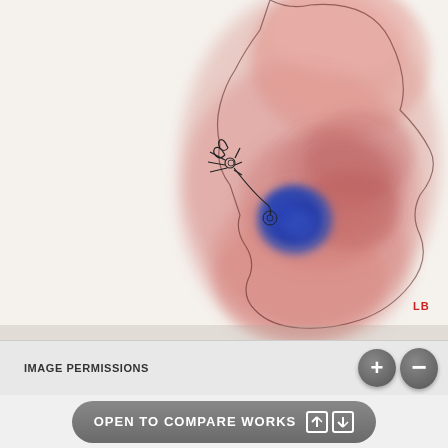[Figure (illustration): Watercolor artwork showing an organic blob-like form in pinkish-red tones with a blue accent shape in the center-lower area. A small black ink drawing of a figure (possibly an insect or small creature) appears on the left side with a curved line connecting to a circular element near the blue shape. Red signature initials 'LB' visible in lower right corner.]
IMAGE PERMISSIONS
OPEN TO COMPARE WORKS